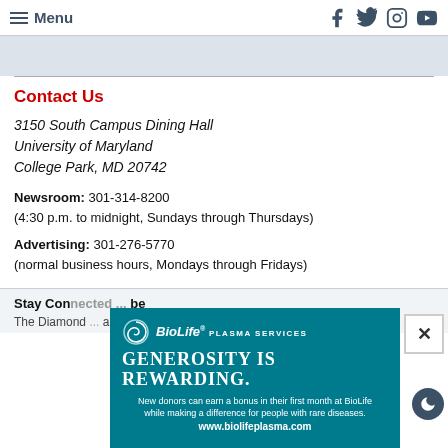Menu | Facebook Twitter Instagram YouTube
Contact Us
3150 South Campus Dining Hall
University of Maryland
College Park, MD 20742
Newsroom: 301-314-8200
(4:30 p.m. to midnight, Sundays through Thursdays)
Advertising: 301-276-5770
(normal business hours, Mondays through Fridays)
Stay Connected ... be
The Diamond ... a non-profit
[Figure (screenshot): BioLife Plasma Services advertisement: 'Generosity is Rewarding. New donors can earn a bonus in their first month at BioLife while making a difference for people with rare diseases. www.biolifeplasma.com']